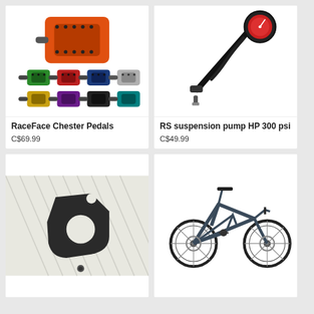[Figure (photo): RaceFace Chester Pedals in orange (large) with multiple color variants shown below: green, red, blue, grey, yellow, purple, black, teal]
RaceFace Chester Pedals
C$69.99
[Figure (photo): RS suspension pump HP 300 psi - black mini pump with pressure gauge]
RS suspension pump HP 300 psi
C$49.99
[Figure (photo): Black bicycle derailleur hanger/dropout piece on white textured background with small bolt]
[Figure (photo): Dark blue/grey full suspension mountain bike]